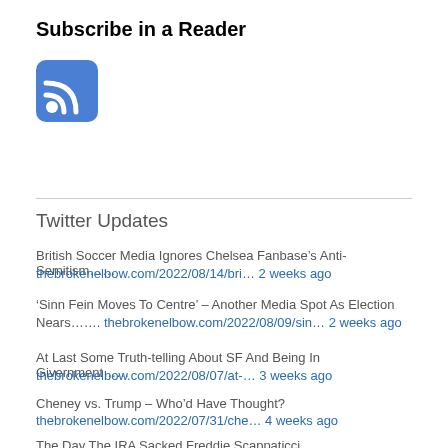Subscribe in a Reader
[Figure (logo): Blue rounded-square RSS feed icon with white WiFi-like signal waves]
Twitter Updates
British Soccer Media Ignores Chelsea Fanbase's Anti-Semitism…… thebrokenelbow.com/2022/08/14/bri… 2 weeks ago
'Sinn Fein Moves To Centre' – Another Media Spot As Election Nears……. thebrokenelbow.com/2022/08/09/sin… 2 weeks ago
At Last Some Truth-telling About SF And Being In Givernment…… thebrokenelbow.com/2022/08/07/at-… 3 weeks ago
Cheney vs. Trump – Who'd Have Thought? thebrokenelbow.com/2022/07/31/che… 4 weeks ago
The Day The IRA Sacked Freddie Scappaticci…..